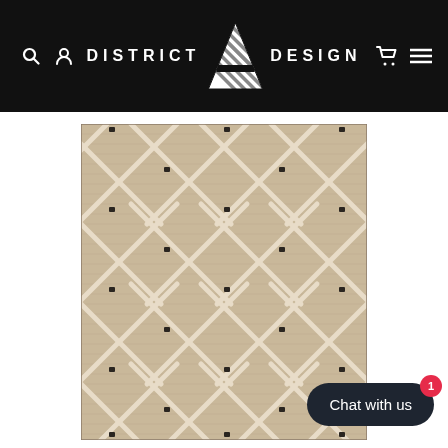District A Design — navigation header with search, user, cart, menu icons and logo
[Figure (photo): A beige/tan woven rug with a diamond/lattice pattern in cream, accented with small dark knot details at intersections. The rug shows a Moroccan-inspired geometric design with a textured jute-like material.]
Chat with us